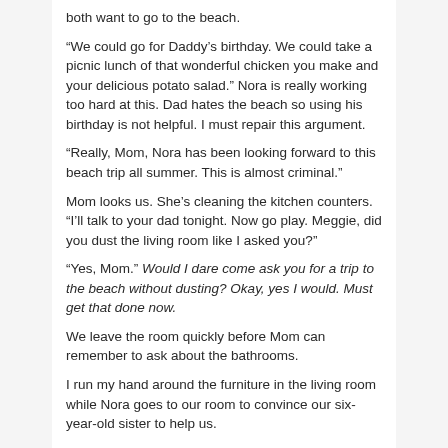both want to go to the beach.
“We could go for Daddy’s birthday. We could take a picnic lunch of that wonderful chicken you make and your delicious potato salad.” Nora is really working too hard at this. Dad hates the beach so using his birthday is not helpful. I must repair this argument.
“Really, Mom, Nora has been looking forward to this beach trip all summer. This is almost criminal.”
Mom looks us. She’s cleaning the kitchen counters. “I’ll talk to your dad tonight. Now go play. Meggie, did you dust the living room like I asked you?”
“Yes, Mom.” Would I dare come ask you for a trip to the beach without dusting? Okay, yes I would. Must get that done now.
We leave the room quickly before Mom can remember to ask about the bathrooms.
I run my hand around the furniture in the living room while Nora goes to our room to convince our six-year-old sister to help us.